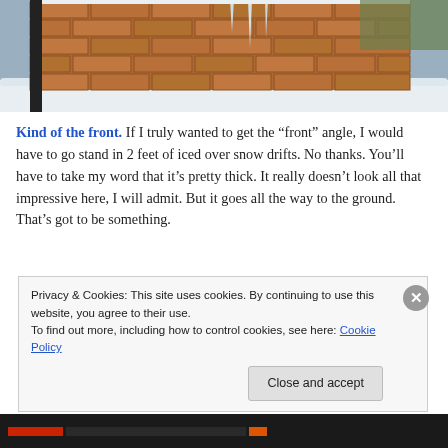[Figure (photo): Photo of a brick wall with icicles hanging down and snow at the base. Taken from an angle showing the side/front of the structure.]
Kind of the front. If I truly wanted to get the “front” angle, I would have to go stand in 2 feet of iced over snow drifts. No thanks. You’ll have to take my word that it’s pretty thick. It really doesn’t look all that impressive here, I will admit. But it goes all the way to the ground. That’s got to be something.
Privacy & Cookies: This site uses cookies. By continuing to use this website, you agree to their use.
To find out more, including how to control cookies, see here: Cookie Policy